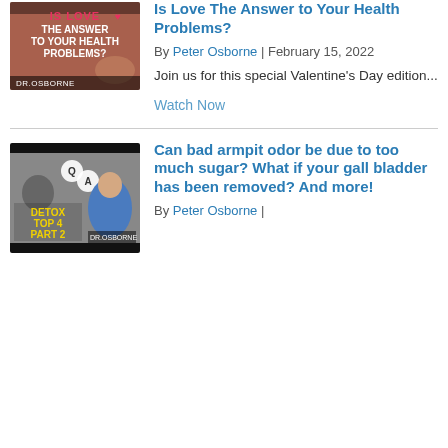[Figure (photo): Thumbnail image for article about love and health problems, showing a person and text 'Is Love The Answer to Your Health Problems?' with DR.OSBORNE branding]
Is Love The Answer to Your Health Problems?
By Peter Osborne | February 15, 2022
Join us for this special Valentine's Day edition...
Watch Now
[Figure (photo): Thumbnail image for Detox Top 4 Part 2 Q&A video with DR.OSBORNE, showing a person and yellow text overlay]
Can bad armpit odor be due to too much sugar? What if your gall bladder has been removed? And more!
By Peter Osborne | February 11, 2022